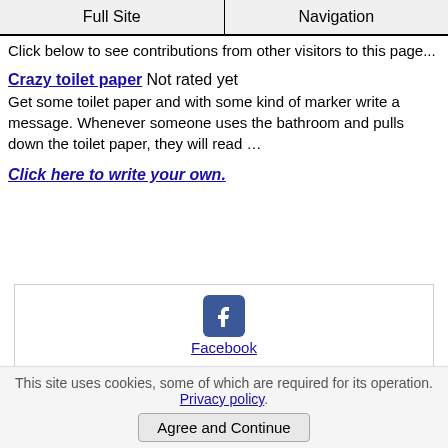Full Site | Navigation
Click below to see contributions from other visitors to this page...
Crazy toilet paper Not rated yet
Get some toilet paper and with some kind of marker write a message. Whenever someone uses the bathroom and pulls down the toilet paper, they will read …
Click here to write your own.
[Figure (other): Social sharing box with Facebook and Twitter icons and links]
This site uses cookies, some of which are required for its operation. Privacy policy. Agree and Continue